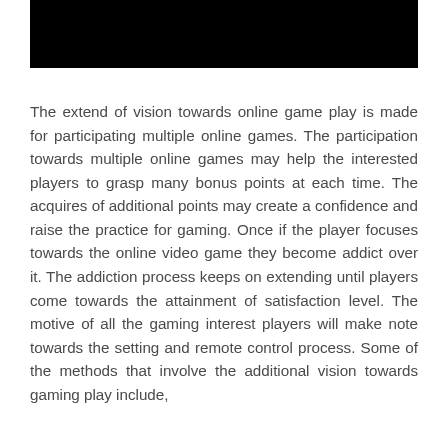[Figure (other): Black rectangular image/banner at the top of the page]
The extend of vision towards online game play is made for participating multiple online games. The participation towards multiple online games may help the interested players to grasp many bonus points at each time. The acquires of additional points may create a confidence and raise the practice for gaming. Once if the player focuses towards the online video game they become addict over it. The addiction process keeps on extending until players come towards the attainment of satisfaction level. The motive of all the gaming interest players will make note towards the setting and remote control process. Some of the methods that involve the additional vision towards gaming play include,